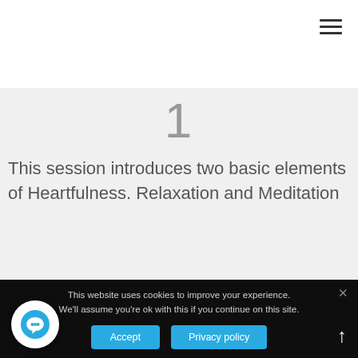≡
1
This session introduces two basic elements of Heartfulness. Relaxation and Meditation
This website uses cookies to improve your experience. We'll assume you're ok with this if you continue on this site.
Accept
Privacy policy